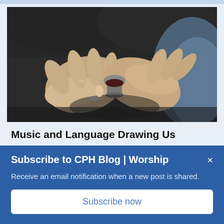[Figure (photo): Close-up photo of two hands holding a small communion cup with dark liquid, person wearing a ring, blurred dark background]
Music and Language Drawing Us
Subscribe to CPH Blog | Worship
Receive an email notification when a new post is shared.
Subscribe now